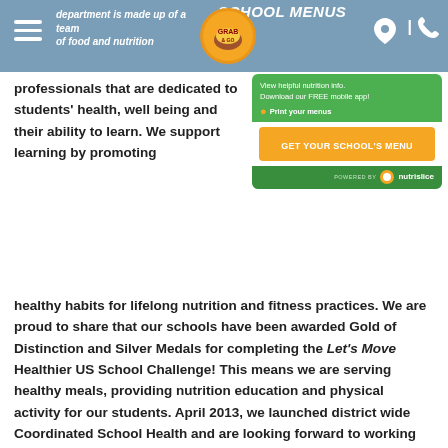SCHOOL MENUS
department is made up of a team of food and nutrition professionals that are dedicated to students' health, well being and their ability to learn. We support learning by promoting healthy habits for lifelong nutrition and fitness practices. We are proud to share that our schools have been awarded Gold of Distinction and Silver Medals for completing the Let's Move Healthier US School Challenge! This means we are serving healthy meals, providing nutrition education and physical activity for our students. April 2013, we launched district wide Coordinated School Health and are looking forward to working with all of our stakeholders to update our Wellness Policy! And, we hope all students will bring a clear water bottle to school each day and stay hydrated. Please see page 16, of the Student Handbook for items that may not be brought on to campus, such as soda, gum, chips and candy.
[Figure (screenshot): Nutrislice school menus widget with GET YOUR SCHOOL'S MENU button, Print your menus option, and powered by nutrislice branding]